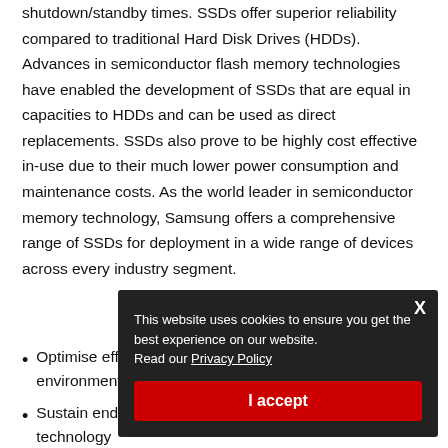shutdown/standby times. SSDs offer superior reliability compared to traditional Hard Disk Drives (HDDs). Advances in semiconductor flash memory technologies have enabled the development of SSDs that are equal in capacities to HDDs and can be used as direct replacements. SSDs also prove to be highly cost effective in-use due to their much lower power consumption and maintenance costs. As the world leader in semiconductor memory technology, Samsung offers a comprehensive range of SSDs for deployment in a wide range of devices across every industry segment.
Main Features
Optimise efficiency for I/O intensive data centre environments
Sustain endurance with MLC and SLC NAND technology